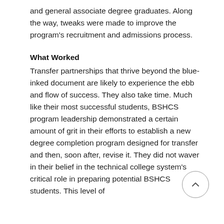and general associate degree graduates. Along the way, tweaks were made to improve the program's recruitment and admissions process.
What Worked
Transfer partnerships that thrive beyond the blue-inked document are likely to experience the ebb and flow of success. They also take time. Much like their most successful students, BSHCS program leadership demonstrated a certain amount of grit in their efforts to establish a new degree completion program designed for transfer and then, soon after, revise it. They did not waver in their belief in the technical college system's critical role in preparing potential BSHCS students. This level of